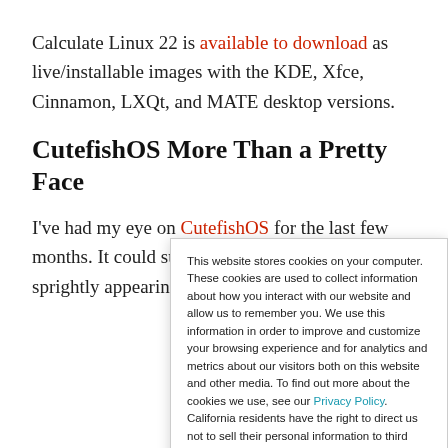Calculate Linux 22 is available to download as live/installable images with the KDE, Xfce, Cinnamon, LXQt, and MATE desktop versions.
CutefishOS More Than a Pretty Face
I've had my eye on CutefishOS for the last few months. It could surpass the look and feel of sprightly appearing Linux
This website stores cookies on your computer. These cookies are used to collect information about how you interact with our website and allow us to remember you. We use this information in order to improve and customize your browsing experience and for analytics and metrics about our visitors both on this website and other media. To find out more about the cookies we use, see our Privacy Policy. California residents have the right to direct us not to sell their personal information to third parties by filing an Opt-Out Request: Do Not Sell My Personal Info.